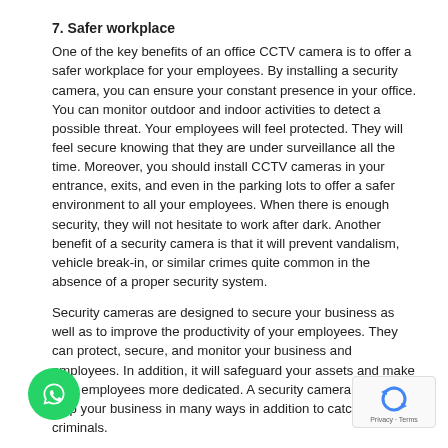7. Safer workplace
One of the key benefits of an office CCTV camera is to offer a safer workplace for your employees. By installing a security camera, you can ensure your constant presence in your office. You can monitor outdoor and indoor activities to detect a possible threat. Your employees will feel protected. They will feel secure knowing that they are under surveillance all the time. Moreover, you should install CCTV cameras in your entrance, exits, and even in the parking lots to offer a safer environment to all your employees. When there is enough security, they will not hesitate to work after dark. Another benefit of a security camera is that it will prevent vandalism, vehicle break-in, or similar crimes quite common in the absence of a proper security system.
Security cameras are designed to secure your business as well as to improve the productivity of your employees. They can protect, secure, and monitor your business and employees. In addition, it will safeguard your assets and make your employees more dedicated. A security camera is built to help your business in many ways in addition to catching the criminals.